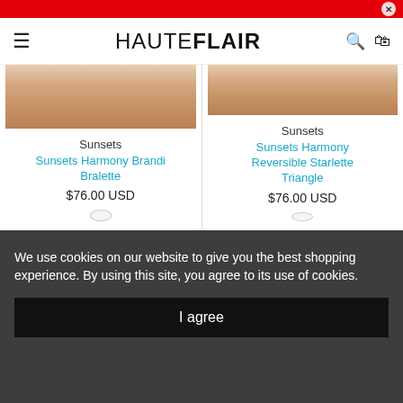HAUTEFLAIR
[Figure (photo): Product photo of Sunsets Harmony Brandi Bralette - cropped torso shot]
Sunsets
Sunsets Harmony Brandi Bralette
$76.00 USD
[Figure (photo): Product photo of Sunsets Harmony Reversible Starlette Triangle - cropped torso shot]
Sunsets
Sunsets Harmony Reversible Starlette Triangle
$76.00 USD
We use cookies on our website to give you the best shopping experience. By using this site, you agree to its use of cookies.
I agree